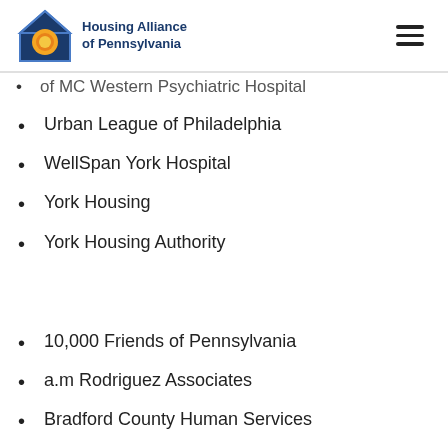Housing Alliance of Pennsylvania
of MC Western Psychiatric Hospital
Urban League of Philadelphia
WellSpan York Hospital
York Housing
York Housing Authority
10,000 Friends of Pennsylvania
a.m Rodriguez Associates
Bradford County Human Services
Capitol Area Coalition on Homelessness
CLEAResult Consulting Inc.
Columbia Housing Authority